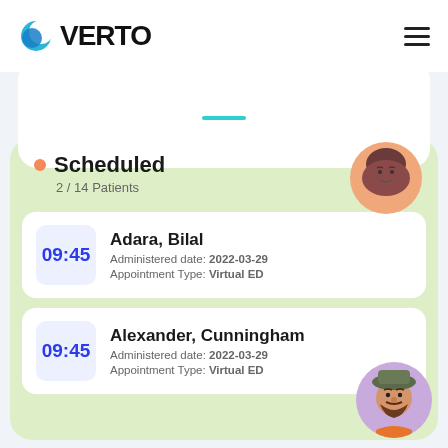[Figure (logo): Verto logo with crescent moon icon and bold VERTO text]
[Figure (screenshot): Hamburger menu icon (three horizontal lines) in top right]
Scheduled
2 / 14 Patients
Adara, Bilal
Administered date: 2022-03-29
Appointment Type: Virtual ED
09:45
Alexander, Cunningham
Administered date: 2022-03-29
Appointment Type: Virtual ED
09:45